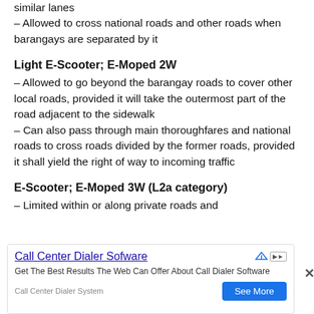similar lanes
– Allowed to cross national roads and other roads when barangays are separated by it
Light E-Scooter; E-Moped 2W
– Allowed to go beyond the barangay roads to cover other local roads, provided it will take the outermost part of the road adjacent to the sidewalk
– Can also pass through main thoroughfares and national roads to cross roads divided by the former roads, provided it shall yield the right of way to incoming traffic
E-Scooter; E-Moped 3W (L2a category)
– Limited within or along private roads and
[Figure (other): Advertisement banner for Call Center Dialer Software with title, description, source and See More button]